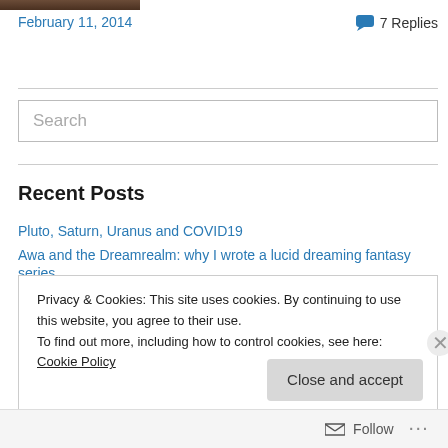[Figure (photo): Partial photo strip at top of page, brownish/dark tones]
February 11, 2014
7 Replies
Search
Recent Posts
Pluto, Saturn, Uranus and COVID19
Awa and the Dreamrealm: why I wrote a lucid dreaming fantasy series
Privacy & Cookies: This site uses cookies. By continuing to use this website, you agree to their use.
To find out more, including how to control cookies, see here: Cookie Policy
Close and accept
Follow